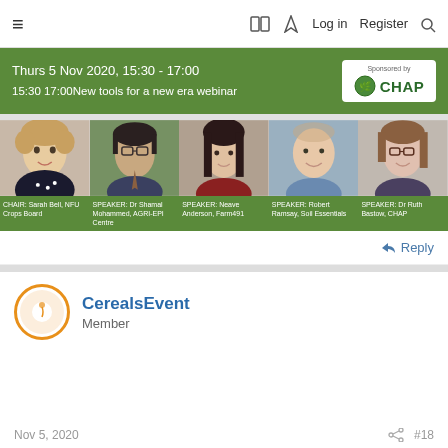≡  📖  ⚡  Log in  Register  🔍
[Figure (infographic): Webinar banner: Thurs 5 Nov 2020, 15:30 - 17:00 | 15:30 17:00 New tools for a new era webinar | Sponsored by CHAP]
[Figure (photo): Five speaker headshots in a row with labels: CHAIR: Sarah Bell, NFU Crops Board | SPEAKER: Dr Shamal Mohammed, AGRI-EPI Centre | SPEAKER: Neave Anderson, Farm491 | SPEAKER: Robert Ramsay, Soil Essentials | SPEAKER: Dr Ruth Bastow, CHAP]
↩ Reply
CerealsEvent
Member
Nov 5, 2020   #18